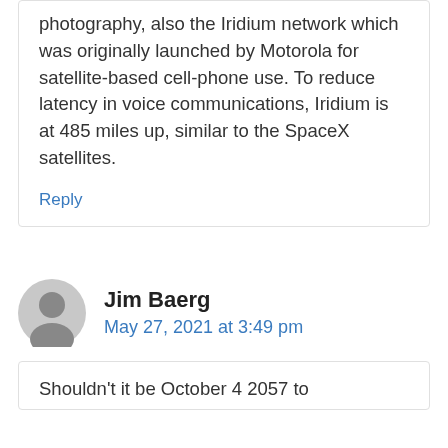photography, also the Iridium network which was originally launched by Motorola for satellite-based cell-phone use. To reduce latency in voice communications, Iridium is at 485 miles up, similar to the SpaceX satellites.
Reply
Jim Baerg
May 27, 2021 at 3:49 pm
Shouldn't it be October 4 2057 to